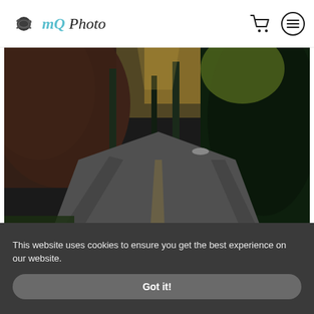mQ Photo
[Figure (photo): A winding asphalt road curving through a dense forest of tall pine and deciduous trees with autumn foliage, photographed from a low perspective with the road receding into the distance.]
This website uses cookies to ensure you get the best experience on our website.
Got it!